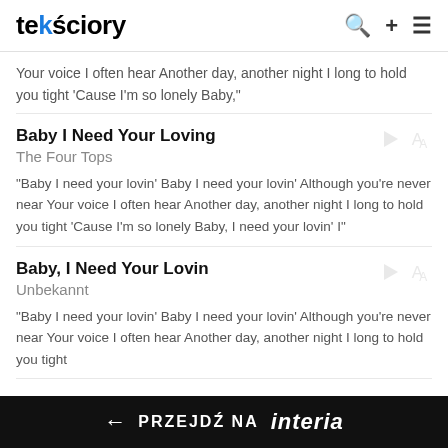tekściory
Your voice I often hear Another day, another night I long to hold you tight 'Cause I'm so lonely Baby,"
Baby I Need Your Loving
The Four Tops
"Baby I need your lovin' Baby I need your lovin' Although you're never near Your voice I often hear Another day, another night I long to hold you tight 'Cause I'm so lonely Baby, I need your lovin' I"
Baby, I Need Your Lovin
Unbekannt
"Baby I need your lovin' Baby I need your lovin' Although you're never near Your voice I often hear Another day, another night I long to hold you tight
← PRZEJDŹ NA interia